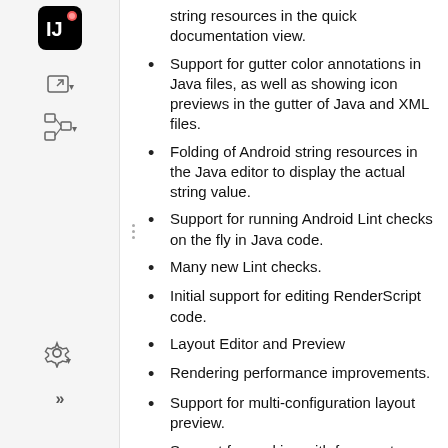string resources in the quick documentation view.
Support for gutter color annotations in Java files, as well as showing icon previews in the gutter of Java and XML files.
Folding of Android string resources in the Java editor to display the actual string value.
Support for running Android Lint checks on the fly in Java code.
Many new Lint checks.
Initial support for editing RenderScript code.
Layout Editor and Preview
Rendering performance improvements.
Support for multi-configuration layout preview.
Support for working with fragment resources.
Improved the UI for choosing device configurations.
Device frame rendering in the layout preview.
Double-clicking a component in the layout preview opens it in the layout editor.
Selection is synchronized between layout preview and editor.
Improved display of rendering errors with support for quickfixes.